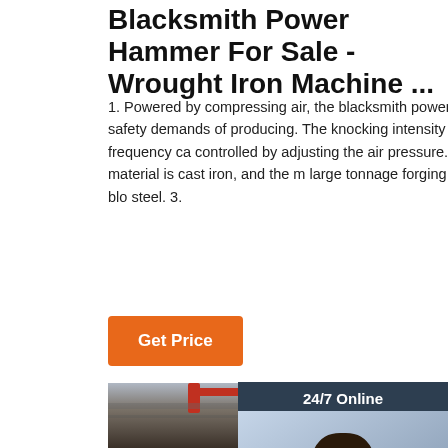Blacksmith Power Hammer For Sale - Wrought Iron Machine ...
1. Powered by compressing air, the blacksmith power hammer suits the safety demands of producing. The knocking intensity and combating frequency can be controlled by adjusting the air pressure. 2. The machine's body material is cast iron, and the large tonnage forging steel hammer's anvil blo steel. 3.
[Figure (photo): Customer service representative with headset, 24/7 Online chat widget overlay with QUOTATION button]
Get Price
[Figure (photo): Factory floor showing blacksmith power hammer equipment with AYST branding and CASE text visible]